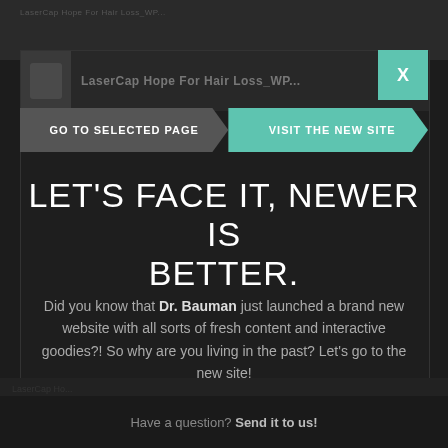[Figure (screenshot): Website modal/popup overlay on dark background showing a website redirect notice. Contains navigation buttons 'GO TO SELECTED PAGE' (grey) and 'VISIT THE NEW SITE' (teal), a close X button in teal, and promotional copy about Dr. Bauman's new website.]
LET'S FACE IT, NEWER IS BETTER.
Did you know that Dr. Bauman just launched a brand new website with all sorts of fresh content and interactive goodies?! So why are you living in the past? Let's go to the new site!
Have a question? Send it to us!